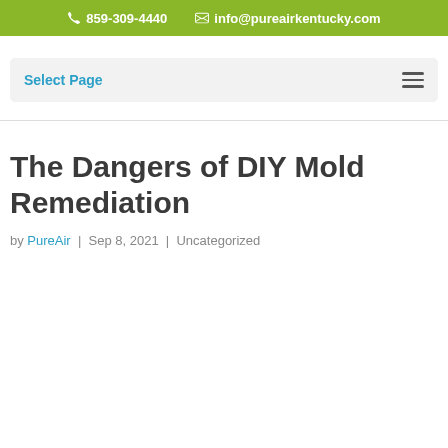859-309-4440  info@pureairkentucky.com
Select Page
The Dangers of DIY Mold Remediation
by PureAir | Sep 8, 2021 | Uncategorized